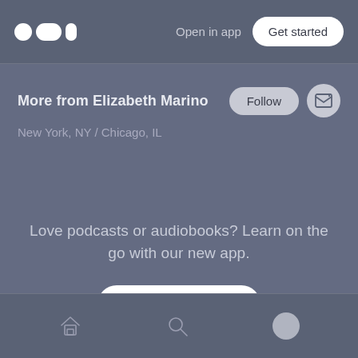Open in app | Get started
More from Elizabeth Marino
New York, NY / Chicago, IL
Love podcasts or audiobooks? Learn on the go with our new app.
Try Knowable
Home | Search | Profile